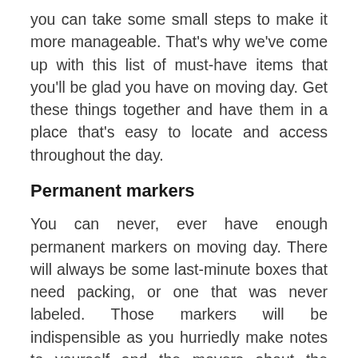you can take some small steps to make it more manageable. That's why we've come up with this list of must-have items that you'll be glad you have on moving day. Get these things together and have them in a place that's easy to locate and access throughout the day.
Permanent markers
You can never, ever have enough permanent markers on moving day. There will always be some last-minute boxes that need packing, or one that was never labeled. Those markers will be indispensible as you hurriedly make notes to yourself and the movers about the contents of each box and where the boxes go.
Plastic bags